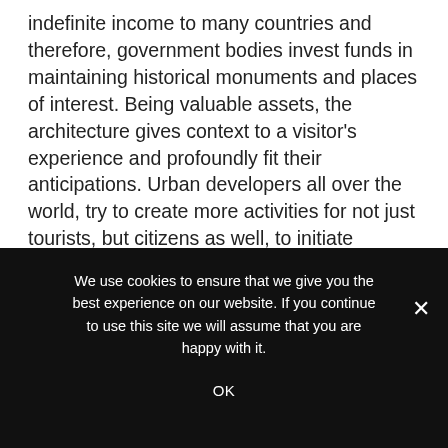indefinite income to many countries and therefore, government bodies invest funds in maintaining historical monuments and places of interest. Being valuable assets, the architecture gives context to a visitor's experience and profoundly fit their anticipations. Urban developers all over the world, try to create more activities for not just tourists, but citizens as well, to initiate balanced development of metropolitan areas to avoid creating a concrete jungle. With the active participation of residents, these undertakings create curiosity among people to
We use cookies to ensure that we give you the best experience on our website. If you continue to use this site we will assume that you are happy with it.
OK